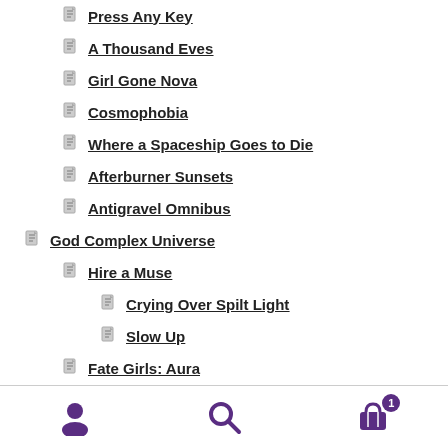Press Any Key
A Thousand Eves
Girl Gone Nova
Cosmophobia
Where a Spaceship Goes to Die
Afterburner Sunsets
Antigravel Omnibus
God Complex Universe
Hire a Muse
Crying Over Spilt Light
Slow Up
Fate Girls: Aura